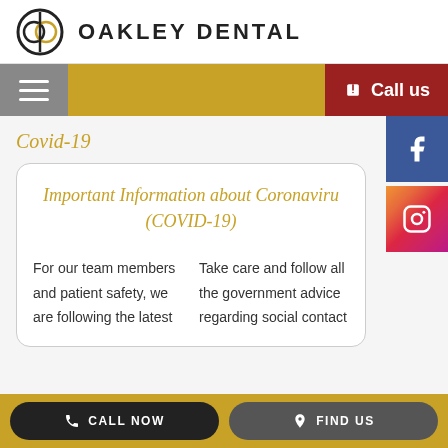OAKLEY DENTAL
Covid-19
Important Information about Coronavirus (COVID-19)
For our team members and patient safety, we are following the latest
Take care and follow all the government advice regarding social contact